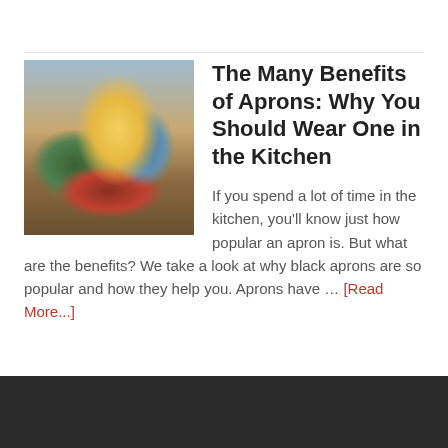[Figure (photo): Person in yellow apron cooking with greens in a wooden bowl, surrounded by vegetables on a kitchen counter]
The Many Benefits of Aprons: Why You Should Wear One in the Kitchen
If you spend a lot of time in the kitchen, you'll know just how popular an apron is. But what are the benefits? We take a look at why black aprons are so popular and how they help you. Aprons have … [Read More...]